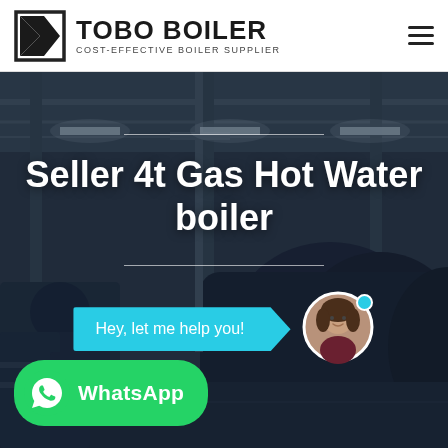[Figure (logo): TOBO BOILER logo with triangle-K icon and tagline COST-EFFECTIVE BOILER SUPPLIER]
[Figure (photo): Industrial boiler manufacturing facility interior with large cylindrical boilers and overhead cranes, dark blue-grey toned image]
Seller 4t Gas Hot Water boiler
Hey, let me help you!
[Figure (illustration): WhatsApp button with green rounded rectangle background, WhatsApp phone icon, and text WhatsApp]